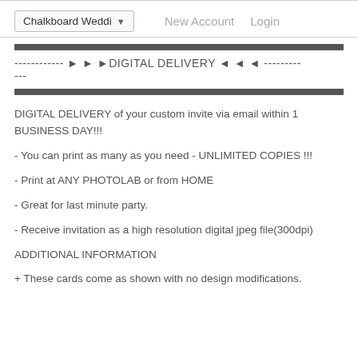Chalkboard Weddi ▾   New Account   Login
------------ ► ► ►DIGITAL DELIVERY ◄ ◄ ◄ ---------
---
DIGITAL DELIVERY of your custom invite via email within 1 BUSINESS DAY!!!
- You can print as many as you need - UNLIMITED COPIES !!!
- Print at ANY PHOTOLAB or from HOME
- Great for last minute party.
- Receive invitation as a high resolution digital jpeg file(300dpi)
ADDITIONAL INFORMATION
+ These cards come as shown with no design modifications.